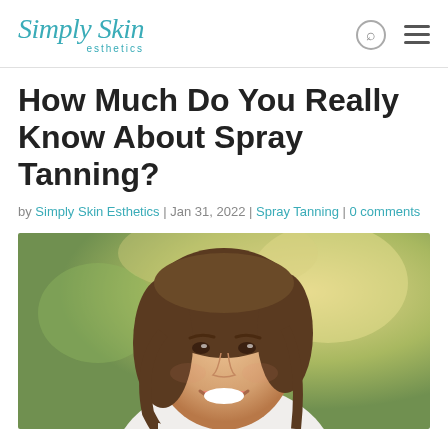Simply Skin esthetics
How Much Do You Really Know About Spray Tanning?
by Simply Skin Esthetics | Jan 31, 2022 | Spray Tanning | 0 comments
[Figure (photo): Smiling young woman with brown hair outdoors with blurred green/yellow background]